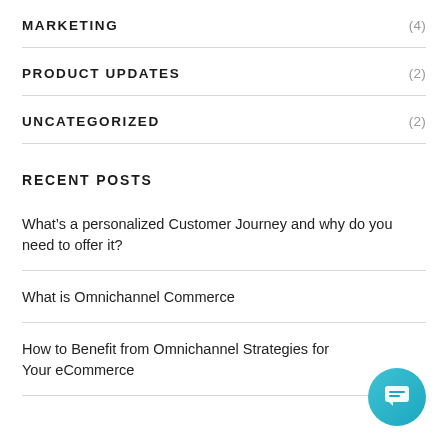MARKETING (4)
PRODUCT UPDATES (2)
UNCATEGORIZED (2)
RECENT POSTS
What’s a personalized Customer Journey and why do you need to offer it?
What is Omnichannel Commerce
How to Benefit from Omnichannel Strategies for Your eCommerce